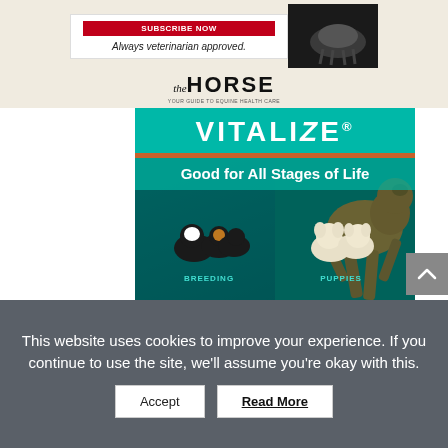[Figure (advertisement): The Horse magazine advertisement with 'Always veterinarian approved.' text and horse photo]
[Figure (advertisement): Vitalize dog supplement advertisement showing 'Good for All Stages of Life' with dogs in four categories: Breeding, Puppies, Adult Dogs, Senior Dogs, a golden retriever running, and a product jar]
The Ke... frustra... Animal ...up its investi... ...sen's stable ...rights group.
On Jan ...stant
This website uses cookies to improve your experience. If you continue to use the site, we'll assume you're okay with this.
Accept
Read More